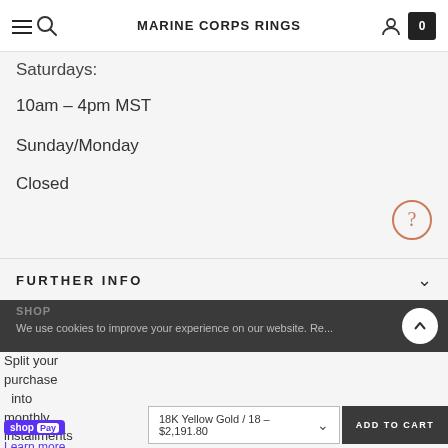MARINE CORPS RINGS
Saturdays:
10am - 4pm MST
Sunday/Monday
Closed
FURTHER INFO
SHOP
We use cookies to improve your experience on our website. Re...
Split your purchase into monthly installments with
18K Yellow Gold / 18 - $2,191.80
ADD TO CART
Shop Pay
Learn more